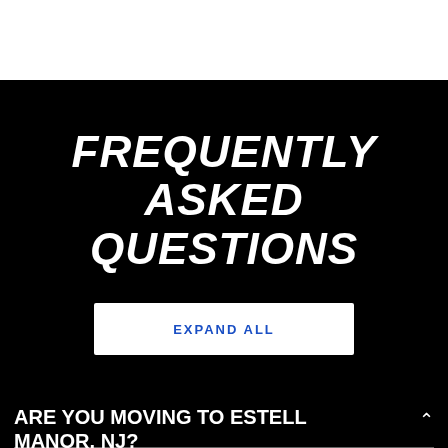FREQUENTLY ASKED QUESTIONS
EXPAND ALL
ARE YOU MOVING TO ESTELL MANOR, NJ?